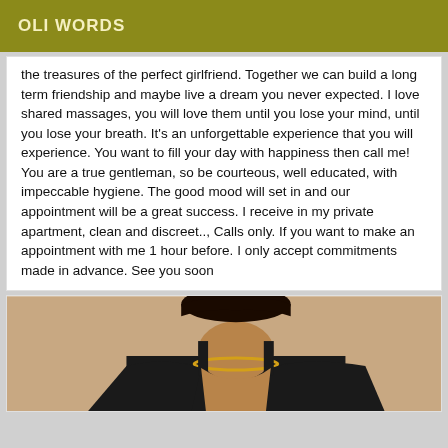OLI WORDS
the treasures of the perfect girlfriend. Together we can build a long term friendship and maybe live a dream you never expected. I love shared massages, you will love them until you lose your mind, until you lose your breath. It's an unforgettable experience that you will experience. You want to fill your day with happiness then call me! You are a true gentleman, so be courteous, well educated, with impeccable hygiene. The good mood will set in and our appointment will be a great success. I receive in my private apartment, clean and discreet.., Calls only. If you want to make an appointment with me 1 hour before. I only accept commitments made in advance. See you soon
[Figure (photo): Partial photo of a person wearing a black outfit and gold necklace, cropped at the neck/chest area]